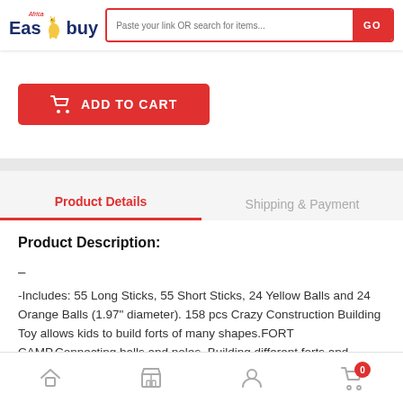Africa EasyBuy — search bar with GO button
ADD TO CART
Product Details | Shipping & Payment
Product Description:
–
-Includes: 55 Long Sticks, 55 Short Sticks, 24 Yellow Balls and 24 Orange Balls (1.97" diameter). 158 pcs Crazy Construction Building Toy allows kids to build forts of many shapes.FORT CAMP,Connecting balls and poles, Building different forts and Styles.
Home | Store | Account | Cart (0)